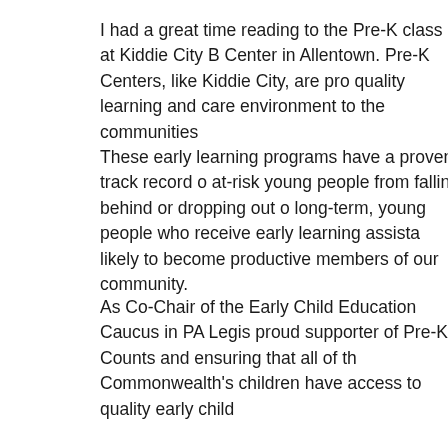I had a great time reading to the Pre-K class at Kiddie City B Center in Allentown. Pre-K Centers, like Kiddie City, are pro quality learning and care environment to the communities
These early learning programs have a proven track record o at-risk young people from falling behind or dropping out o long-term, young people who receive early learning assista likely to become productive members of our community.
As Co-Chair of the Early Child Education Caucus in PA Legis proud supporter of Pre-K Counts and ensuring that all of th Commonwealth’s children have access to quality early child
PA Continues to Lead in Farmland Prese
The PA farm preservation program reports Calendar Year 2 highest number of farms preserved in a decade. In Decembe Agricultural Land Preservation Board announced the safegu additional 2,450 acres on 29 farms in 16 counties through th